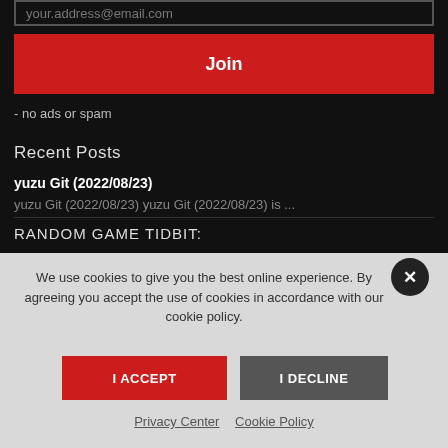your.address@email.com
Join
- no ads or spam
Recent Posts
yuzu Git (2022/08/23)
yuzu Git (2022/08/23) yuzu Git (2022/08/23) is ...
RANDOM GAME TIDBIT:
We use cookies to give you the best online experience. By agreeing you accept the use of cookies in accordance with our cookie policy.
I ACCEPT
I DECLINE
Privacy Center   Cookie Policy